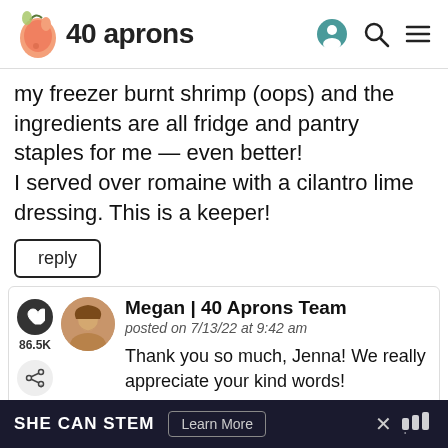40 aprons
my freezer burnt shrimp (oops) and the ingredients are all fridge and pantry staples for me — even better!
I served over romaine with a cilantro lime dressing. This is a keeper!
reply
Megan | 40 Aprons Team
posted on 7/13/22 at 9:42 am
Thank you so much, Jenna! We really appreciate your kind words!
SHE CAN STEM  Learn More